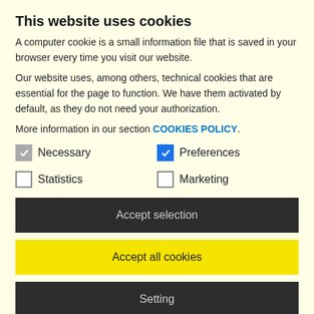This website uses cookies
A computer cookie is a small information file that is saved in your browser every time you visit our website.
Our website uses, among others, technical cookies that are essential for the page to function. We have them activated by default, as they do not need your authorization.
More information in our section COOKIES POLICY.
Necessary (checked)
Preferences (checked, blue)
Statistics (unchecked)
Marketing (unchecked)
Accept selection
Accept all cookies
Setting